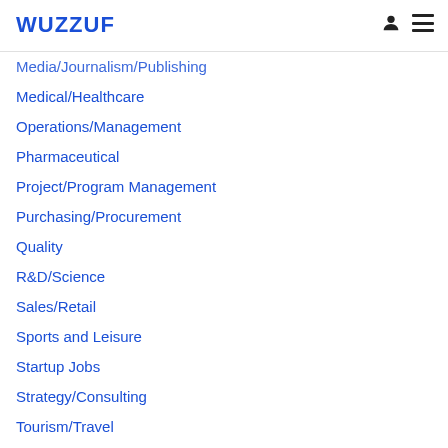WUZZUF
Media/Journalism/Publishing
Medical/Healthcare
Operations/Management
Pharmaceutical
Project/Program Management
Purchasing/Procurement
Quality
R&D/Science
Sales/Retail
Sports and Leisure
Startup Jobs
Strategy/Consulting
Tourism/Travel
Tourism/Leisure